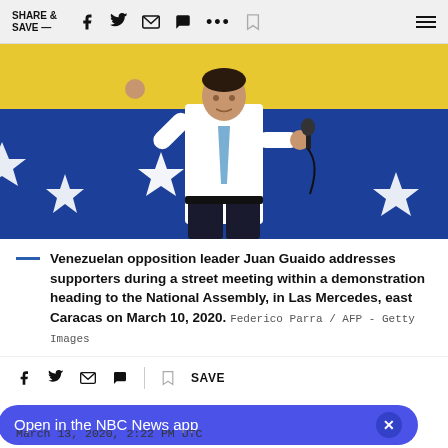SHARE & SAVE —
[Figure (photo): Venezuelan opposition leader Juan Guaido speaking at a microphone with his hand raised, in front of a large Venezuelan flag with yellow, blue stripes and white stars]
Venezuelan opposition leader Juan Guaido addresses supporters during a street meeting within a demonstration heading to the National Assembly, in Las Mercedes, east Caracas on March 10, 2020. Federico Parra / AFP - Getty Images
March 13, 2020, 2:22 PM UTC